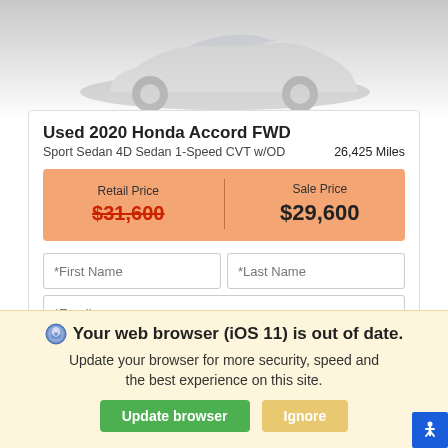[Figure (photo): Partial view of a car (Honda Accord) in grayscale, cropped at top]
Used 2020 Honda Accord FWD
Sport Sedan 4D Sedan 1-Speed CVT w/OD    26,425 Miles
| Retail Price | Sale Price |
| --- | --- |
| $31,600 | $29,600 |
*First Name  *Last Name
*Email
Phone   Get Our Best Price
Your web browser (iOS 11) is out of date. Update your browser for more security, speed and the best experience on this site.
Update browser   Ignore